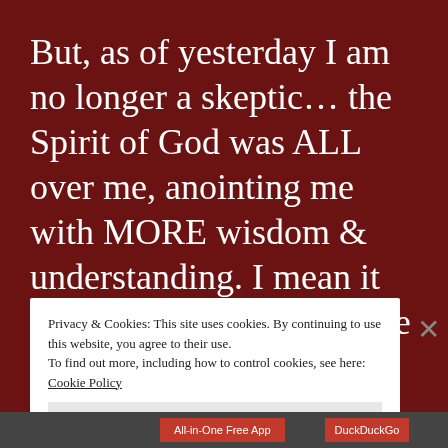But, as of yesterday I am no longer a skeptic… the Spirit of God was ALL over me, anointing me with MORE wisdom & understanding. I mean it was a Glorious experience that I wouldn't trade for the world.
Privacy & Cookies: This site uses cookies. By continuing to use this website, you agree to their use.
To find out more, including how to control cookies, see here: Cookie Policy
Close and accept